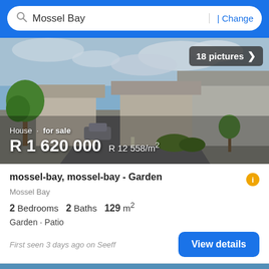Mossel Bay | Change
[Figure (photo): Street view of a residential neighborhood in Mossel Bay showing houses, road, trees and cloudy sky. Overlay text: House · for sale, R 1 620 000, R 12 558/m². Badge: 18 pictures >]
mossel-bay, mossel-bay - Garden
Mossel Bay
2 Bedrooms  2 Baths  129 m²
Garden · Patio
First seen 3 days ago on Seeff
View details
[Figure (photo): Partial sky photo at bottom of screen with Filter button and up arrow button overlay]